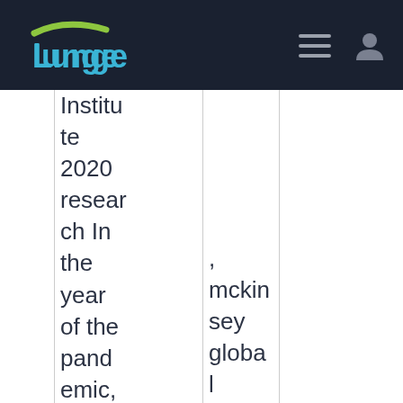Lunge (logo navigation bar)
Institute 2020 research In the year of the pandemic, it became more important than ever to see risks clearly and
, mckinsey global institute, global institute, cid, global, mckinsey global, globa